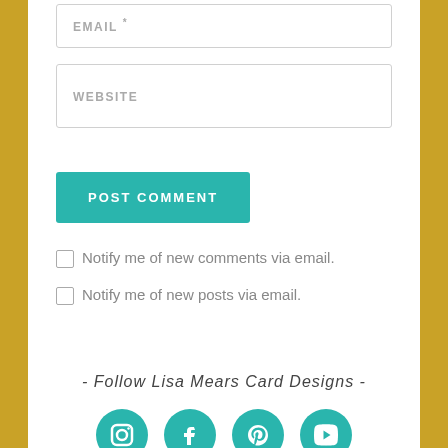EMAIL *
WEBSITE
POST COMMENT
Notify me of new comments via email.
Notify me of new posts via email.
- Follow Lisa Mears Card Designs -
[Figure (illustration): Social media icons: Instagram, Facebook, Pinterest, YouTube in teal color]